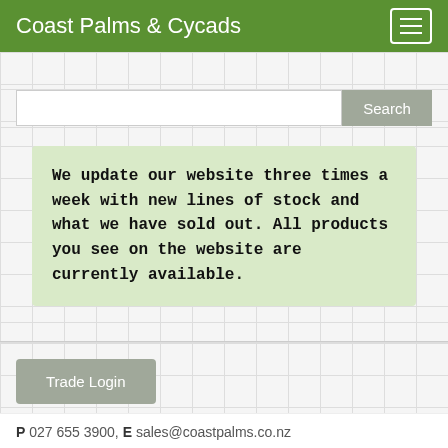Coast Palms & Cycads
We update our website three times a week with new lines of stock and what we have sold out. All products you see on the website are currently available.
Trade Login
P 027 655 3900,  E sales@coastpalms.co.nz